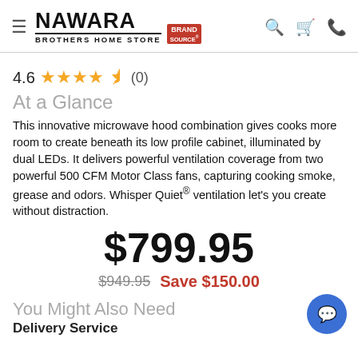[Figure (logo): Nawara Brothers Home Store logo with Brand Source badge]
4.6 ★★★★½ (0)
At a Glance
This innovative microwave hood combination gives cooks more room to create beneath its low profile cabinet, illuminated by dual LEDs. It delivers powerful ventilation coverage from two powerful 500 CFM Motor Class fans, capturing cooking smoke, grease and odors. Whisper Quiet® ventilation let's you create without distraction.
$799.95
$949.95  Save $150.00
You Might Also Need
Delivery Service